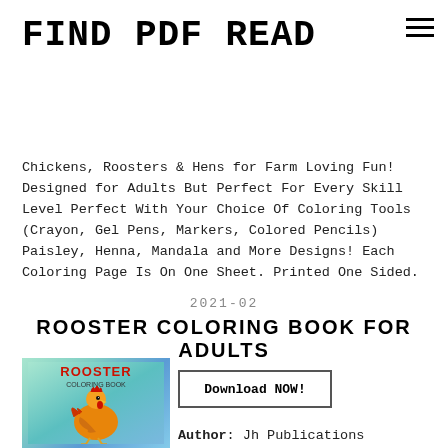FIND PDF READ
Chickens, Roosters & Hens for Farm Loving Fun! Designed for Adults But Perfect For Every Skill Level Perfect With Your Choice Of Coloring Tools (Crayon, Gel Pens, Markers, Colored Pencils) Paisley, Henna, Mandala and More Designs! Each Coloring Page Is On One Sheet. Printed One Sided.
2021-02
ROOSTER COLORING BOOK FOR ADULTS
[Figure (illustration): Book cover showing a rooster coloring book with a colorful rooster illustration on a teal/blue background with the word ROOSTER in red and COLORING BOOK below it]
Download NOW!
Author: Jh Publications